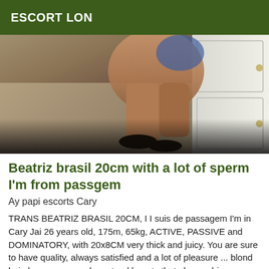ESCORT LON
[Figure (photo): Photo of a person's legs and lower body standing on a tiled floor near a white cabinet]
Beatriz brasil 20cm with a lot of sperm I'm from passgem
Ay papi escorts Cary
TRANS BEATRIZ BRASIL 20CM, I I suis de passagem I'm in Cary Jai 26 years old, 175m, 65kg, ACTIVE, PASSIVE and DOMINATORY, with 20x8CM very thick and juicy. You are sure to have quality, always satisfied and a lot of pleasure ... blond hair, brown eyes and a natural beauty that always drives people crazy. For the...